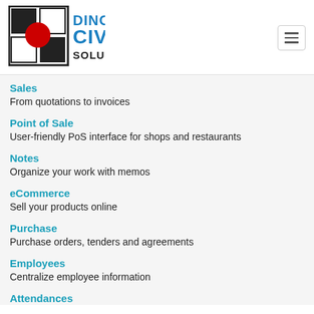[Figure (logo): Dincel Civil Solutions logo with black and red geometric squares and blue bold text]
Sales
From quotations to invoices
Point of Sale
User-friendly PoS interface for shops and restaurants
Notes
Organize your work with memos
eCommerce
Sell your products online
Purchase
Purchase orders, tenders and agreements
Employees
Centralize employee information
Attendances